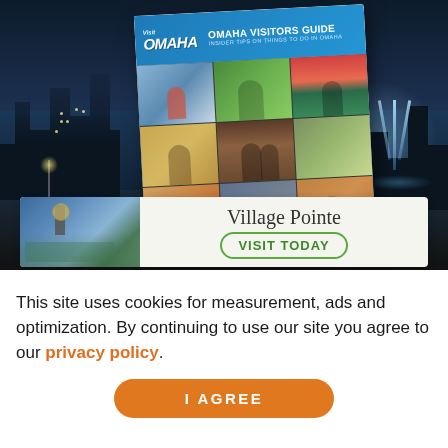[Figure (photo): Visit Omaha Visitors Guide booklet with photo collage of Omaha attractions, overlaid on a night city background with fountains]
[Figure (photo): Village Pointe advertisement banner with clock tower photo and VISIT TODAY button]
This site uses cookies for measurement, ads and optimization. By continuing to use our site you agree to our privacy policy.
I AGREE